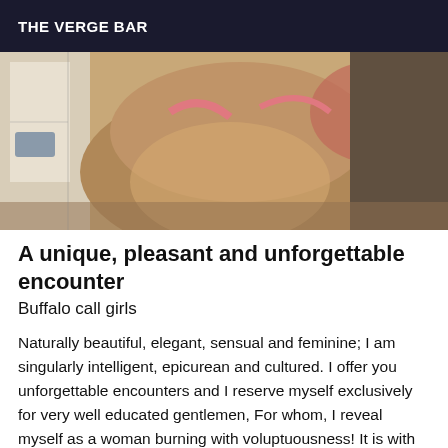THE VERGE BAR
[Figure (photo): Close-up photo of a person near a window, warm tones, partially obscured figure]
A unique, pleasant and unforgettable encounter
Buffalo call girls
Naturally beautiful, elegant, sensual and feminine; I am singularly intelligent, epicurean and cultured. I offer you unforgettable encounters and I reserve myself exclusively for very well educated gentlemen, For whom, I reveal myself as a woman burning with voluptuousness! It is with great pleasure that I receive you in a pleasant and discreet setting for unforgettable